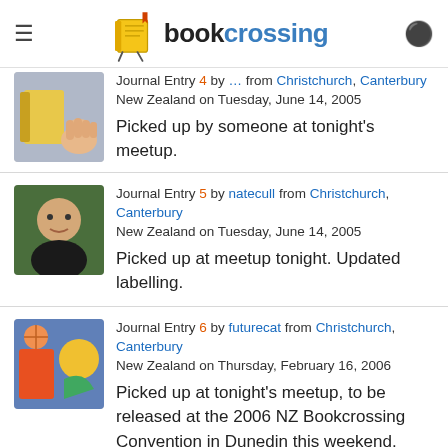bookcrossing
Journal Entry 4 by ... from Christchurch, Canterbury New Zealand on Tuesday, June 14, 2005
Picked up by someone at tonight's meetup.
Journal Entry 5 by natecull from Christchurch, Canterbury New Zealand on Tuesday, June 14, 2005
Picked up at meetup tonight. Updated labelling.
Journal Entry 6 by futurecat from Christchurch, Canterbury New Zealand on Thursday, February 16, 2006
Picked up at tonight's meetup, to be released at the 2006 NZ Bookcrossing Convention in Dunedin this weekend.
^ ^
00
=+=